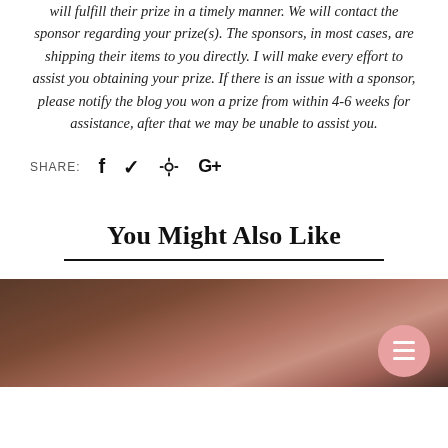will fulfill their prize in a timely manner. We will contact the sponsor regarding your prize(s). The sponsors, in most cases, are shipping their items to you directly. I will make every effort to assist you obtaining your prize. If there is an issue with a sponsor, please notify the blog you won a prize from within 4-6 weeks for assistance, after that we may be unable to assist you.
SHARE:
You Might Also Like
[Figure (photo): A decorative cake topped with large ruffled flower petals in dusty pink/mauve tones, partially visible at the bottom of the page.]